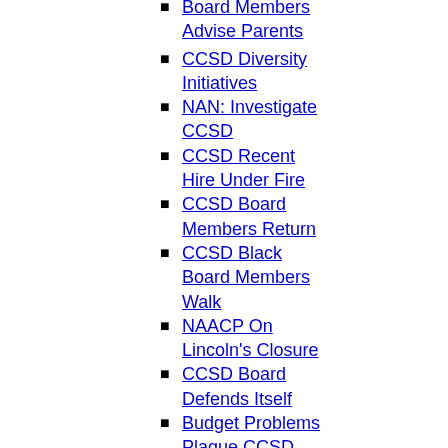Board Members Advise Parents
CCSD Diversity Initiatives
NAN: Investigate CCSD
CCSD Recent Hire Under Fire
CCSD Board Members Return
CCSD Black Board Members Walk
NAACP On Lincoln's Closure
CCSD Board Defends Itself
Budget Problems Plague CCSD
-Scholarships & Competitions-
Charleston County Scholarship
"Hidden Figures" STEM Contest